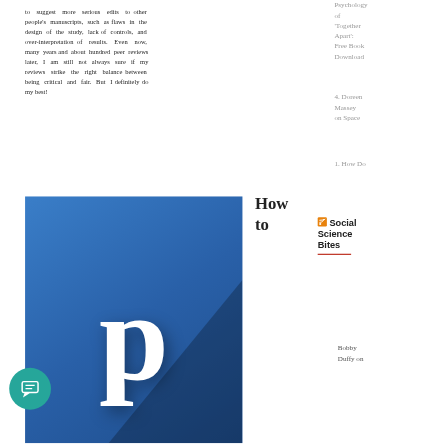to suggest more serious edits to other people's manuscripts, such as flaws in the design of the study, lack of controls, and over-interpretation of results. Even now, many years and about hundred peer reviews later, I am still not always sure if my reviews strike the right balance between being critical and fair. But I definitely do my best!
Psychology of 'Together Apart': Free Book Download
4. Doreen Massey on Space
1. How Do
How to
[Figure (logo): Blue square logo with white letter 'p' in serif font with shadow effect]
Social Science Bites
Bobby Duffy on